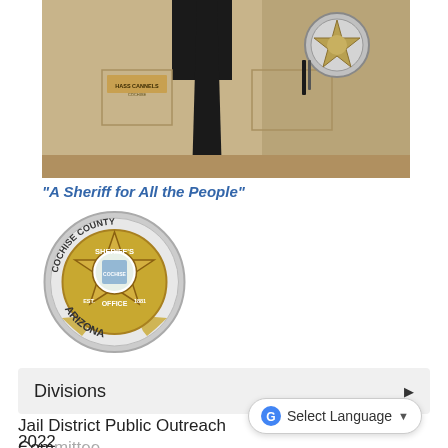[Figure (photo): Close-up photo of a sheriff officer's uniform shirt in tan/khaki color with a name tag reading 'HASS CANNELS', black tie, badge area, and pen in pocket]
"A Sheriff for All the People"
[Figure (logo): Cochise County Sheriff's Office Arizona circular badge logo with gold star badge, established 1881]
Divisions
Jail District Public Outreach Committee 2022